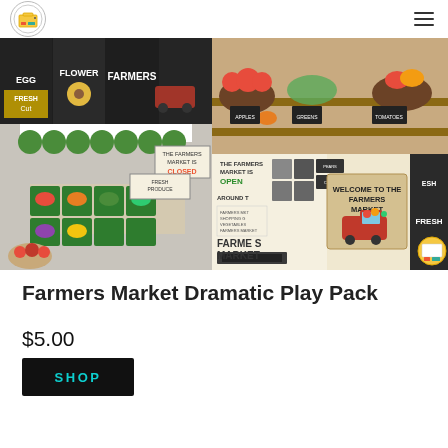Logo and navigation menu
[Figure (photo): Farmers market dramatic play setup collage: four photos showing a classroom farmers market with produce signs, toy fruit and vegetables in bins, open/closed signs, and printed materials including a welcome banner, bunting letters spelling FARMERS MARKET, shopping lists, and product cards.]
Farmers Market Dramatic Play Pack
$5.00
SHOP